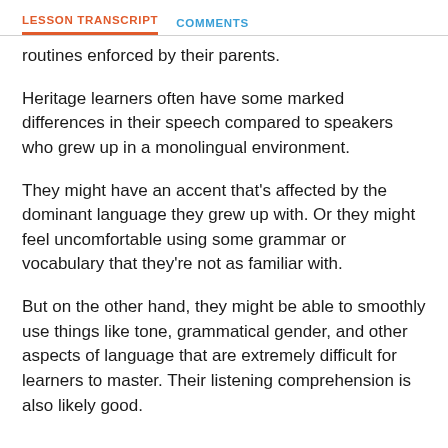LESSON TRANSCRIPT   COMMENTS
routines enforced by their parents.
Heritage learners often have some marked differences in their speech compared to speakers who grew up in a monolingual environment.
They might have an accent that's affected by the dominant language they grew up with. Or they might feel uncomfortable using some grammar or vocabulary that they're not as familiar with.
But on the other hand, they might be able to smoothly use things like tone, grammatical gender, and other aspects of language that are extremely difficult for learners to master. Their listening comprehension is also likely good.